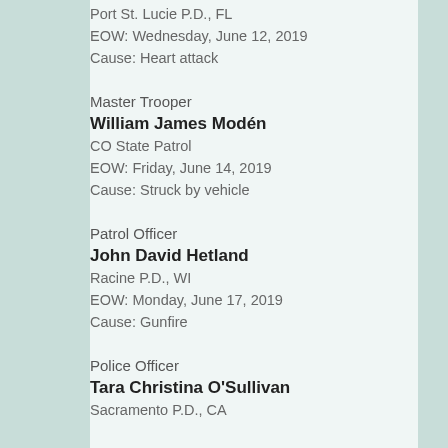Port St. Lucie P.D., FL
EOW: Wednesday, June 12, 2019
Cause: Heart attack
Master Trooper
William James Modén
CO State Patrol
EOW: Friday, June 14, 2019
Cause: Struck by vehicle
Patrol Officer
John David Hetland
Racine P.D., WI
EOW: Monday, June 17, 2019
Cause: Gunfire
Police Officer
Tara Christina O'Sullivan
Sacramento P.D., CA